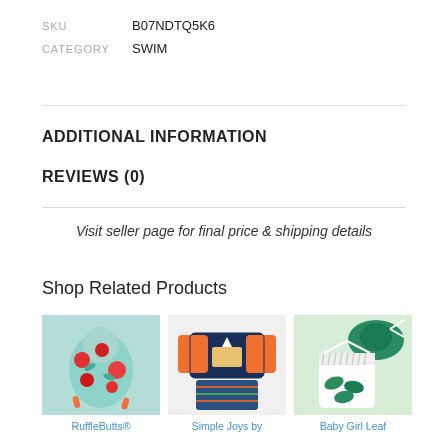SKU    B07NDTQ5K6
CATEGORY    SWIM
ADDITIONAL INFORMATION
REVIEWS (0)
Visit seller page for final price & shipping details
Shop Related Products
[Figure (photo): RuffleButts floral swimsuit product image]
RuffleButts®
[Figure (photo): Simple Joys by Carter's boys pirate rash guard and swim trunks set]
Simple Joys by
[Figure (photo): Baby Girl Leaf print swimsuit with hat]
Baby Girl Leaf